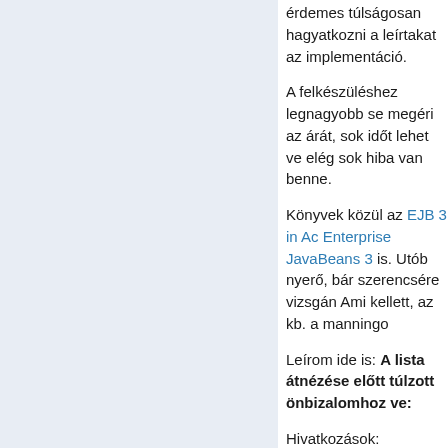érdemes túlságosan hagyatkozni a leírtakat az implementáció.
A felkészüléshez legnagyobb se megéri az árát, sok időt lehet ve elég sok hiba van benne.
Könyvek közül az EJB 3 in Ac Enterprise JavaBeans 3 is. Utób nyerő, bár szerencsére vizsgán Ami kellett, az kb. a manningo
Leírom ide is: A lista átnézése előtt túlzott önbizalomhoz ve:
Hivatkozások:
ejb3core: JSR 220: Enterp
pers: JSR 220: Enterprise
java suncert
palacsint blogja   Új hozzászólás   To